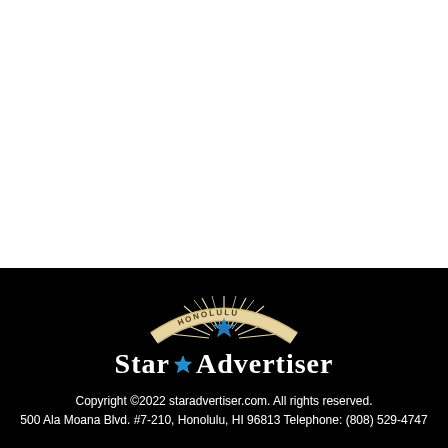[Figure (logo): Honolulu Star-Advertiser logo with sunburst arc and star icon on black background]
Copyright ©2022 staradvertiser.com. All rights reserved.
500 Ala Moana Blvd. #7-210, Honolulu, HI 96813 Telephone: (808) 529-4747